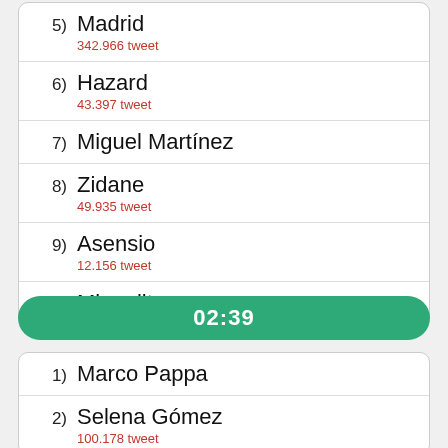5) Madrid
342.966 tweet
6) Hazard
43.397 tweet
7) Miguel Martínez
8) Zidane
49.935 tweet
9) Asensio
12.156 tweet
10) Miguelito
02:39
1) Marco Pappa
2) Selena Gómez
100.178 tweet